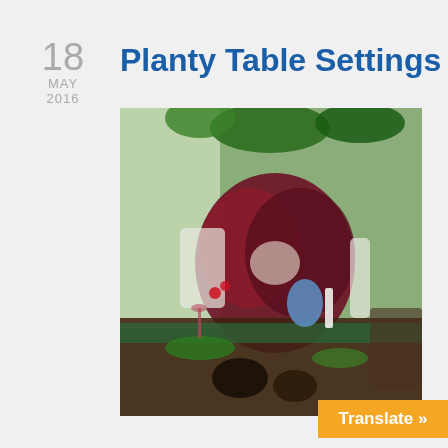18 MAY 2016
Planty Table Settings
[Figure (photo): Photograph of a table setting surrounded by lush indoor plants including a large dark purple-red leafed plant in the center, hanging plants above, and various table decorations including a blue glass vase, candles, and bowls in the foreground. The setting appears to be in a greenhouse or sunroom.]
Translate »